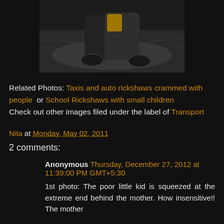[Figure (photo): Two people riding a scooter/motorcycle, motion blur in background, dark scene]
Related Photos: Taxis and auto rickshaws crammed with people or School Rickshaws with small children
Check out other images filed under the label of Transport
Nita at Monday, May 02, 2011
2 comments:
Anonymous Thursday, December 27, 2012 at 11:39:00 PM GMT+5:30
1st photo: The poor little kid is squeezed at the extreme end behind the mother. How insensitive!! The mother